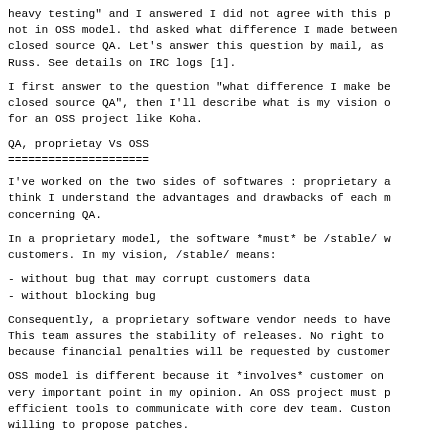heavy testing" and I answered I did not agree with this p not in OSS model. thd asked what difference I made between closed source QA. Let's answer this question by mail, as Russ. See details on IRC logs [1].
I first answer to the question "what difference I make be closed source QA", then I'll describe what is my vision o for an OSS project like Koha.
QA, proprietay Vs OSS
=====================
I've worked on the two sides of softwares : proprietary a think I understand the advantages and drawbacks of each m concerning QA.
In a proprietary model, the software *must* be /stable/ w customers. In my vision, /stable/ means:
- without bug that may corrupt customers data
- without blocking bug
Consequently, a proprietary software vendor needs to have This team assures the stability of releases. No right to because financial penalties will be requested by customer
OSS model is different because it *involves* customer on very important point in my opinion. An OSS project must p efficient tools to communicate with core dev team. Custon willing to propose patches.